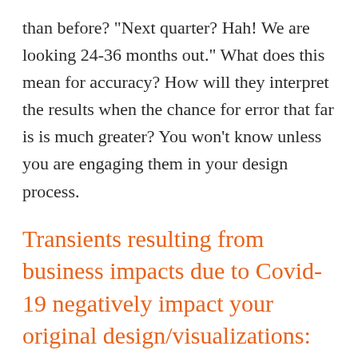than before? "Next quarter? Hah! We are looking 24-36 months out." What does this mean for accuracy? How will they interpret the results when the chance for error that far is is much greater? You won't know unless you are engaging them in your design process.
Transients resulting from business impacts due to Covid-19 negatively impact your original design/visualizations: